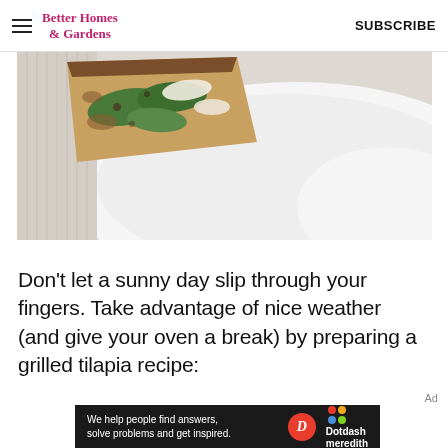Better Homes & Gardens | SUBSCRIBE
[Figure (photo): Close-up photo of a grilled tilapia slice on a white plate, showing a piece of fish with green leaves (spinach/basil), cheese, and crispy edges, placed on a white ceramic plate with a linen cloth underneath.]
Don't let a sunny day slip through your fingers. Take advantage of nice weather (and give your oven a break) by preparing a grilled tilapia recipe:
Ad
[Figure (other): Advertisement banner for Dotdash Meredith: black background with white text 'We help people find answers, solve problems and get inspired.' with Dotdash Meredith logo (red D circle and colorful dots icon).]